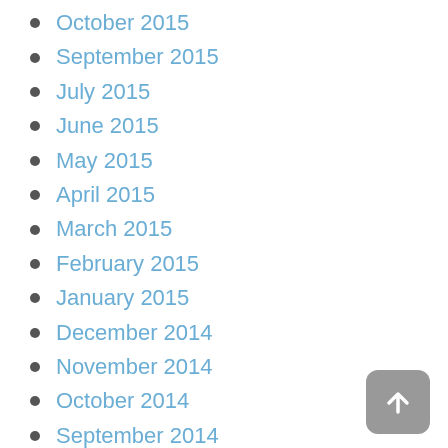October 2015
September 2015
July 2015
June 2015
May 2015
April 2015
March 2015
February 2015
January 2015
December 2014
November 2014
October 2014
September 2014
August 2014
July 2014
June 2014